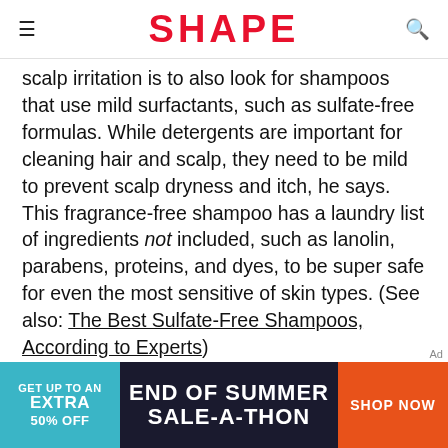SHAPE
scalp irritation is to also look for shampoos that use mild surfactants, such as sulfate-free formulas. While detergents are important for cleaning hair and scalp, they need to be mild to prevent scalp dryness and itch, he says. This fragrance-free shampoo has a laundry list of ingredients not included, such as lanolin, parabens, proteins, and dyes, to be super safe for even the most sensitive of skin types. (See also: The Best Sulfate-Free Shampoos, According to Experts)
Buy It: Free & Clear Sensitive Skin Shampoo,
[Figure (infographic): Advertisement banner: GET UP TO AN EXTRA 50% OFF | END OF SUMMER SALE-A-THON | SHOP NOW. Teal left panel, dark navy center panel, orange right button.]